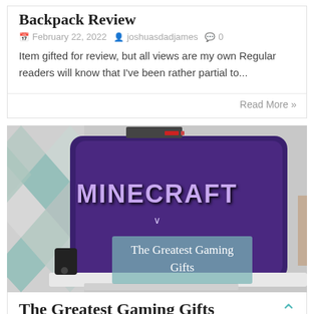Backpack Review
February 22, 2022  joshuasdadjames  0
Item gifted for review, but all views are my own Regular readers will know that I've been rather partial to...
Read More »
[Figure (photo): A large curved TV screen showing the Minecraft title screen with purple background, sitting on a white TV stand with a gaming console visible. Geometric patterned wallpaper on the left. A semi-transparent teal overlay box shows 'The Greatest Gaming Gifts' text.]
The Greatest Gaming Gifts
January 16, 2022  joshuasdadjames  0